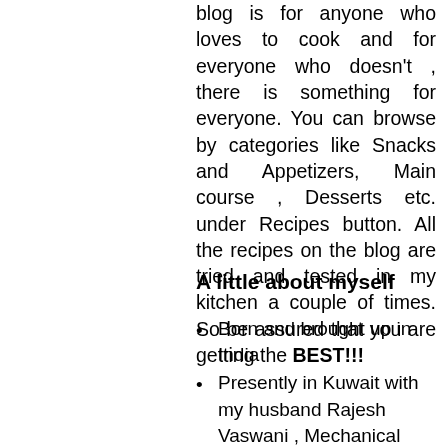blog is for anyone who loves to cook and for everyone who doesn't , there is something for everyone. You can browse by categories like Snacks and Appetizers, Main course , Desserts etc. under Recipes button. All the recipes on the blog are tried and tested in my kitchen a couple of times. So be assured that you are getting the BEST!!!
A little about myself
Born and brought up in India
Presently in Kuwait with my husband Rajesh Vaswani , Mechanical Engineer by profession
Mom of two boys Sarthak and